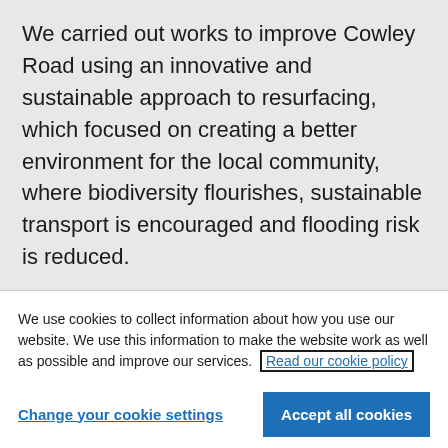We carried out works to improve Cowley Road using an innovative and sustainable approach to resurfacing, which focused on creating a better environment for the local community, where biodiversity flourishes, sustainable transport is encouraged and flooding risk is reduced.
Status: Completed
We use cookies to collect information about how you use our website. We use this information to make the website work as well as possible and improve our services. Read our cookie policy
Change your cookie settings
Accept all cookies